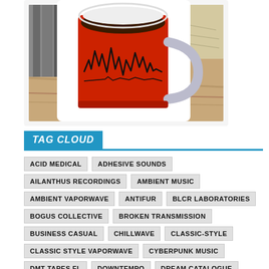[Figure (photo): Photo of a red mug with black artistic design/illustration on it, sitting on a wooden surface with books in the background. The mug is displayed on a white tablet or frame.]
TAG CLOUD
ACID MEDICAL
ADHESIVE SOUNDS
AILANTHUS RECORDINGS
AMBIENT MUSIC
AMBIENT VAPORWAVE
ANTIFUR
BLCR LABORATORIES
BOGUS COLLECTIVE
BROKEN TRANSMISSION
BUSINESS CASUAL
CHILLWAVE
CLASSIC-STYLE
CLASSIC STYLE VAPORWAVE
CYBERPUNK MUSIC
DMT TAPES FL
DOWNTEMPO
DREAM CATALOGUE
DREAMPUNK
ECCOJAMS
ELEMENTAL 95
EVAPORATED SOUNDS
FLAMINGO VAPOR